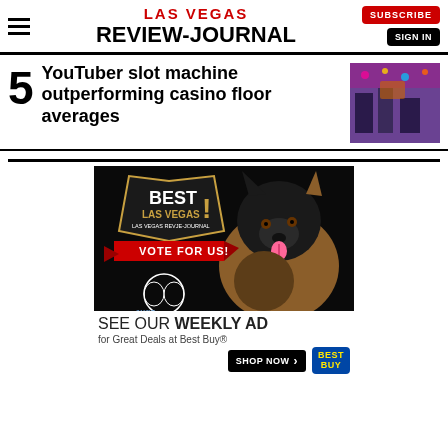LAS VEGAS REVIEW-JOURNAL | SUBSCRIBE | SIGN IN
5 YouTuber slot machine outperforming casino floor averages
[Figure (photo): Photo of people playing slot machines at a casino floor, colorful lights in background]
[Figure (photo): Advertisement: Best Las Vegas - Vote For Us! featuring a German Shepherd dog and circular logo]
SEE OUR WEEKLY AD for Great Deals at Best Buy® SHOP NOW